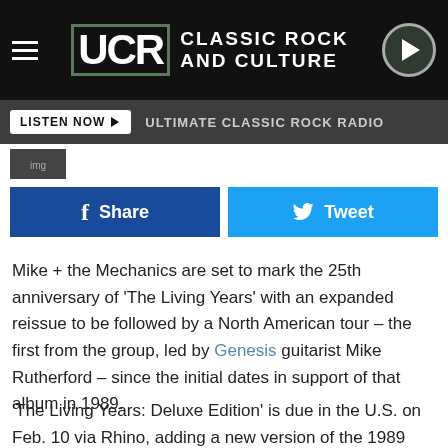UCR CLASSIC ROCK AND CULTURE
LISTEN NOW ▶  ULTIMATE CLASSIC ROCK RADIO
f Share    Tweet
Mike + the Mechanics are set to mark the 25th anniversary of 'The Living Years' with an expanded reissue to be followed by a North American tour – the first from the group, led by Genesis guitarist Mike Rutherford – since the initial dates in support of that album in 1989.
'The Living Years: Deluxe Edition' is due in the U.S. on Feb. 10 via Rhino, adding a new version of the 1989 chart-topping title track recorded with the the South African Joanne Choir